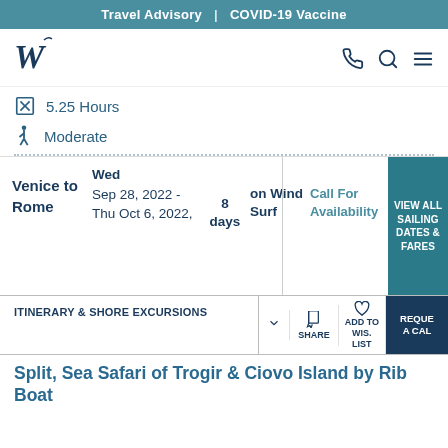Travel Advisory | COVID-19 Vaccine
[Figure (logo): Windstar Cruises W logo in dark navy blue]
5.25 Hours
Moderate
| Route | Dates | Days | Ship | Price | CTA |
| --- | --- | --- | --- | --- | --- |
| Venice to Rome | Wed Sep 28, 2022 - Thu Oct 6, 2022, | 8 days | on Wind Surf | Call For Availability | VIEW ALL SAILING DATES & FARES |
ITINERARY & SHORE EXCURSIONS
ADD TO WISH LIST
SHARE
REQUE A CAL
Split, Sea Safari of Trogir & Ciovo Island by Rib Boat